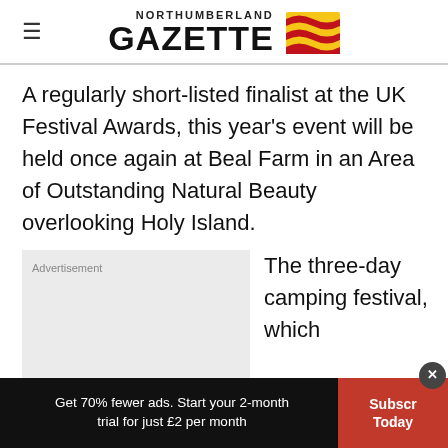NORTHUMBERLAND GAZETTE
A regularly short-listed finalist at the UK Festival Awards, this year's event will be held once again at Beal Farm in an Area of Outstanding Natural Beauty overlooking Holy Island.
[Figure (other): Advertisement placeholder box (grey background)]
The three-day camping festival, which
Get 70% fewer ads. Start your 2-month trial for just £2 per month  Subscribe Today